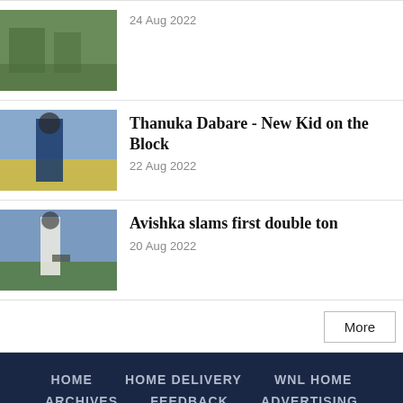24 Aug 2022
Thanuka Dabare - New Kid on the Block
22 Aug 2022
Avishka slams first double ton
20 Aug 2022
More
HOME   HOME DELIVERY   WNL HOME   ARCHIVES   FEEDBACK   ADVERTISING
All the content on this website is copyright protected and can be reproduced only by giving the due courtesy to 'dailymirror.lk' Copyright © 2004 Wijeya Newspapers Ltd.